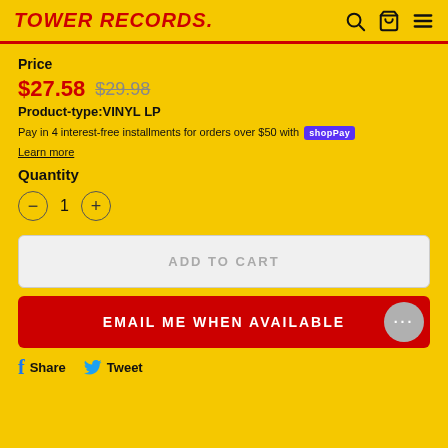TOWER RECORDS.
Price
$27.58  $29.98
Product-type:VINYL LP
Pay in 4 interest-free installments for orders over $50 with Shop Pay
Learn more
Quantity
- 1 +
ADD TO CART
EMAIL ME WHEN AVAILABLE
f Share   Tweet